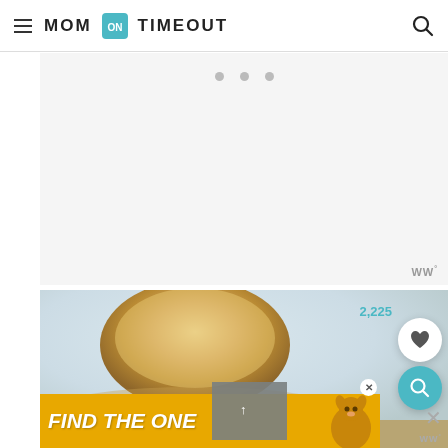MOM ON TIMEOUT
[Figure (screenshot): White/light gray advertisement placeholder area with three dots navigation indicators]
[Figure (photo): Food photo showing a golden brown biscuit or scone on a light blue background, with a golden dog adoption ad banner overlay reading FIND THE ONE, and UI overlays including a heart save button showing 2,225, a teal search button, a thumbnail overlay, and close buttons]
2,225
FIND THE ONE